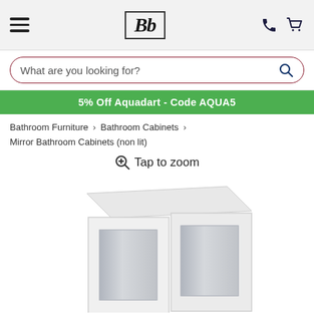Bb [logo] — navigation header with hamburger menu, phone icon, basket icon
What are you looking for?
5% Off Aquadart - Code AQUA5
Bathroom Furniture > Bathroom Cabinets > Mirror Bathroom Cabinets (non lit)
Tap to zoom
[Figure (photo): White double-door mirror bathroom cabinet, shown in 3/4 angle view with two mirrored door panels framed in white.]